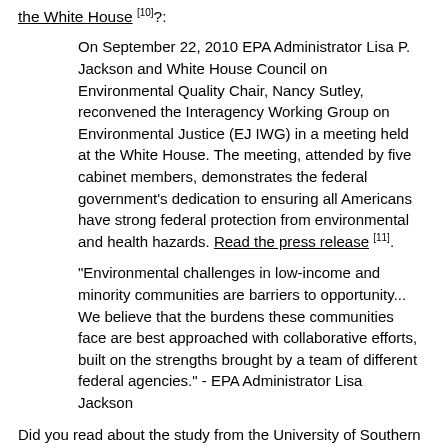the White House [10]?:
On September 22, 2010 EPA Administrator Lisa P. Jackson and White House Council on Environmental Quality Chair, Nancy Sutley, reconvened the Interagency Working Group on Environmental Justice (EJ IWG) in a meeting held at the White House. The meeting, attended by five cabinet members, demonstrates the federal government's dedication to ensuring all Americans have strong federal protection from environmental and health hazards. Read the press release [11].
“Environmental challenges in low-income and minority communities are barriers to opportunity... We believe that the burdens these communities face are best approached with collaborative efforts, built on the strengths brought by a team of different federal agencies.” - EPA Administrator Lisa Jackson
Did you read about the study from the University of Southern California (USC) Program for Environmental and Regional Equity (PERE) - The Climate Gap: Inequalities in How Climate Change Hurts Americans & How to...